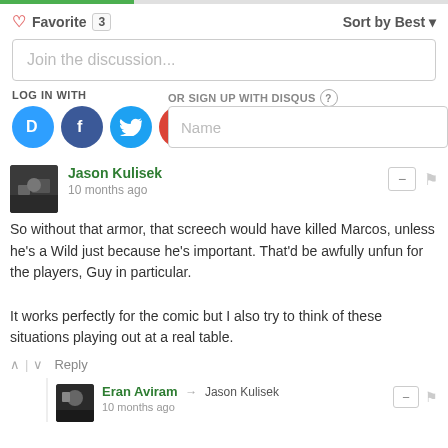♡ Favorite 3    Sort by Best ▾
Join the discussion...
LOG IN WITH
OR SIGN UP WITH DISQUS ?
Name
Jason Kulisek
10 months ago
So without that armor, that screech would have killed Marcos, unless he's a Wild just because he's important. That'd be awfully unfun for the players, Guy in particular.

It works perfectly for the comic but I also try to think of these situations playing out at a real table.
^ | v  Reply
Eran Aviram → Jason Kulisek
10 months ago